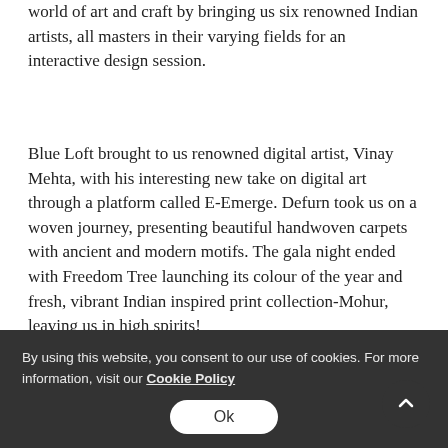world of art and craft by bringing us six renowned Indian artists, all masters in their varying fields for an interactive design session.
Blue Loft brought to us renowned digital artist, Vinay Mehta, with his interesting new take on digital art through a platform called E-Emerge. Defurn took us on a woven journey, presenting beautiful handwoven carpets with ancient and modern motifs. The gala night ended with Freedom Tree launching its colour of the year and fresh, vibrant Indian inspired print collection-Mohur, leaving us in high spirits!
By using this website, you consent to our use of cookies. For more information, visit our Cookie Policy
Ok